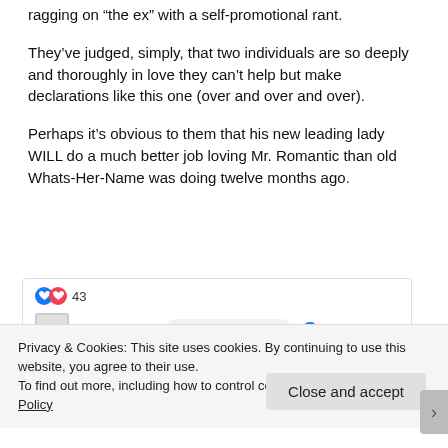ragging on “the ex” with a self-promotional rant.
They’ve judged, simply, that two individuals are so deeply and thoroughly in love they can’t help but make declarations like this one (over and over and over).
Perhaps it’s obvious to them that his new leading lady WILL do a much better job loving Mr. Romantic than old Whats-Her-Name was doing twelve months ago.
[Figure (screenshot): Facebook post reactions showing thumbs up and heart icons with count of 43, and a comment saying 'That is so awesome' with 1 reaction]
Privacy & Cookies: This site uses cookies. By continuing to use this website, you agree to their use.
To find out more, including how to control cookies, see here: Cookie Policy
Close and accept